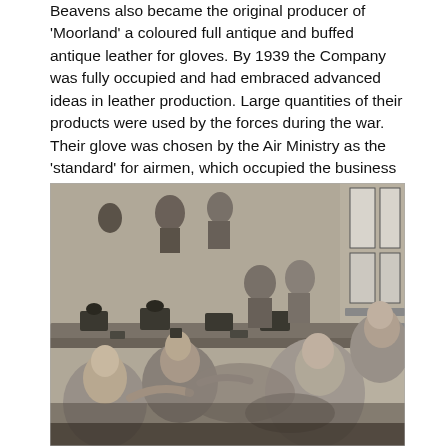Beavens also became the original producer of 'Moorland' a coloured full antique and buffed antique leather for gloves. By 1939 the Company was fully occupied and had embraced advanced ideas in leather production. Large quantities of their products were used by the forces during the war. Their glove was chosen by the Air Ministry as the 'standard' for airmen, which occupied the business during the war and they also produced gloves for motor transport.
[Figure (photo): Black and white photograph of women workers seated along a long workbench in a factory, operating sewing machines and working with leather, producing gloves. The room has windows on the right side and shelves on the walls.]